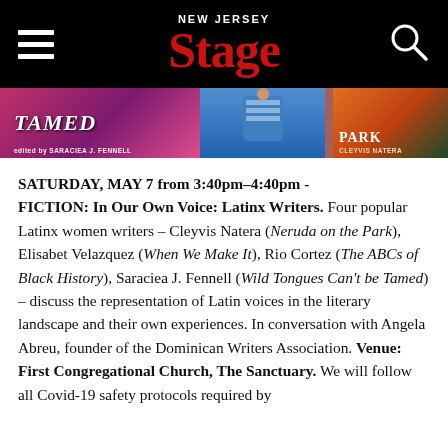NEW JERSEY Stage
[Figure (photo): Banner showing book covers including 'Tamed' by Saraciea J. Fennell and a book by Cleyvis Natera]
SATURDAY, MAY 7 from 3:40pm–4:40pm - FICTION: In Our Own Voice: Latinx Writers. Four popular Latinx women writers – Cleyvis Natera (Neruda on the Park), Elisabet Velazquez (When We Make It), Rio Cortez (The ABCs of Black History), Saraciea J. Fennell (Wild Tongues Can't be Tamed) – discuss the representation of Latin voices in the literary landscape and their own experiences. In conversation with Angela Abreu, founder of the Dominican Writers Association. Venue: First Congregational Church, The Sanctuary. We will follow all Covid-19 safety protocols required by